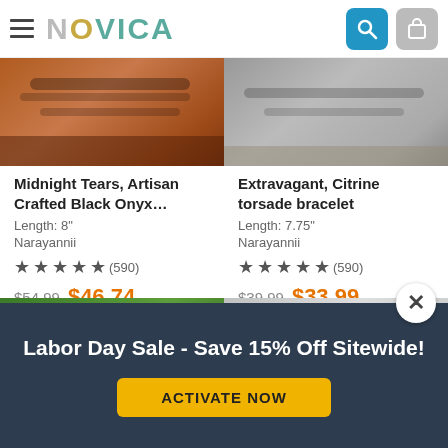NOVICA
[Figure (photo): Close-up of black onyx bracelet with dark beads on wood surface]
[Figure (photo): Citrine torsade bracelet in grayscale on sandy/rocky surface]
Midnight Tears, Artisan Crafted Black Onyx…
Length: 8"
Narayannii
★★★★★ (590)
$54.99  $46.74
Extravagant, Citrine torsade bracelet
Length: 7.75"
Narayannii
★★★★★ (590)
$39.99  $33.99
[Figure (photo): Bracelet with white beads on green leaf background]
[Figure (photo): Teal/turquoise beaded bracelet on grey wood surface]
Labor Day Sale - Save 15% Off Sitewide!
ACTIVATE NOW